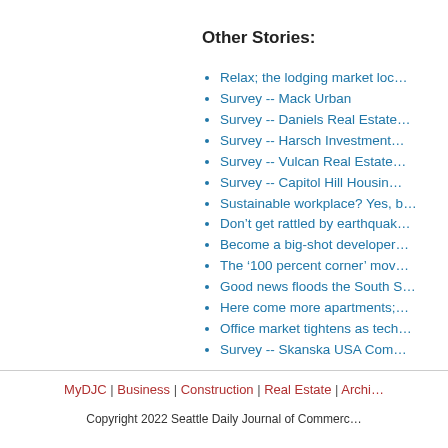Other Stories:
Relax; the lodging market loc…
Survey -- Mack Urban
Survey -- Daniels Real Estate…
Survey -- Harsch Investment…
Survey -- Vulcan Real Estate…
Survey -- Capitol Hill Housin…
Sustainable workplace? Yes, b…
Don't get rattled by earthquak…
Become a big-shot developer…
The '100 percent corner' mov…
Good news floods the South S…
Here come more apartments;…
Office market tightens as tech…
Survey -- Skanska USA Com…
MyDJC | Business | Construction | Real Estate | Archi… Copyright 2022 Seattle Daily Journal of Commerce…